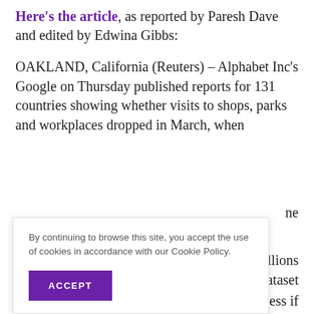Here's the article, as reported by Paresh Dave and edited by Edwina Gibbs:
OAKLAND, California (Reuters) – Alphabet Inc's Google on Thursday published reports for 131 countries showing whether visits to shops, parks and workplaces dropped in March, when
ne
By continuing to browse this site, you accept the use of cookies in accordance with our Cookie Policy.
ACCEPT
n billions
dataset
ess if